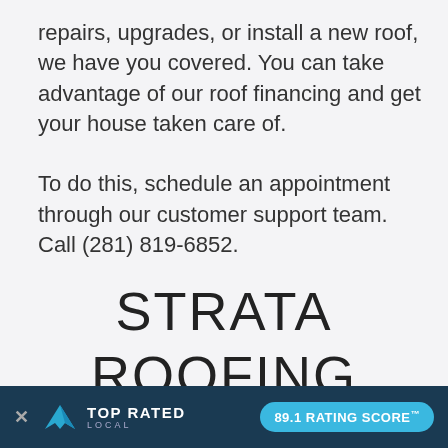repairs, upgrades, or install a new roof, we have you covered. You can take advantage of our roof financing and get your house taken care of.

To do this, schedule an appointment through our customer support team. Call (281) 819-6852.
STRATA ROOFING AND CONSTRUCTION CER
[Figure (screenshot): Top Rated Local banner overlay at bottom of page showing '× TOP RATED LOCAL' logo and '89.1 RATING SCORE™' badge on dark blue background]